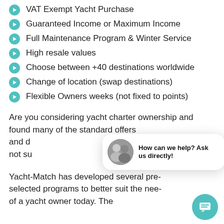VAT Exempt Yacht Purchase
Guaranteed Income or Maximum Income
Full Maintenance Program & Winter Service
High resale values
Choose between +40 destinations worldwide
Change of location (swap destinations)
Flexible Owners weeks (not fixed to points)
Are you considering yacht charter ownership and found many of the standard offers and d… not su…
[Figure (other): Chat widget popup with two person photo and text 'How can we help? Ask us directly!']
Yacht-Match has developed several pre-selected programs to better suit the needs of a yacht owner today. The